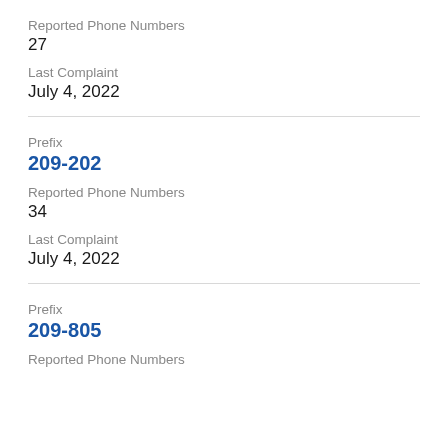Reported Phone Numbers
27
Last Complaint
July 4, 2022
Prefix
209-202
Reported Phone Numbers
34
Last Complaint
July 4, 2022
Prefix
209-805
Reported Phone Numbers